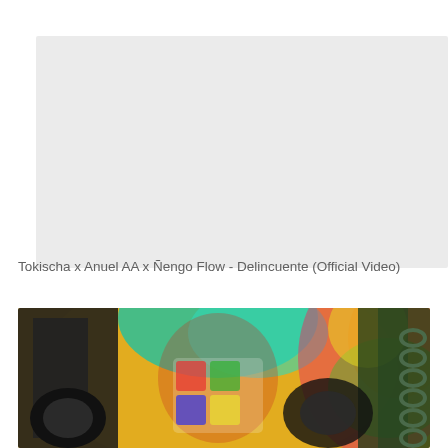[Figure (other): Gray placeholder rectangle representing a video player embed area]
Tokischa x Anuel AA x Ñengo Flow - Delincuente (Official Video)
[Figure (photo): Colorful music video thumbnail showing figures with motorcycles against a vivid psychedelic swirling background in yellow, green, teal and rainbow colors]